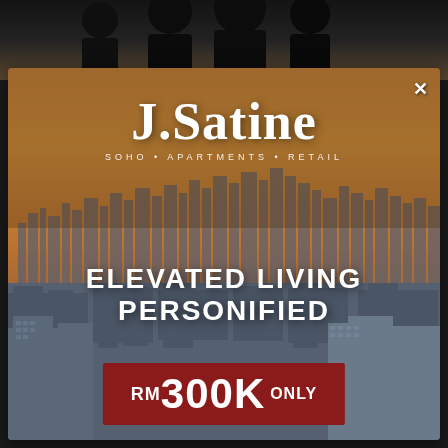[Figure (photo): Top strip showing people in business suits, blurred background, dark tones]
[Figure (infographic): Real estate advertisement for J.Satine development showing aerial city skyline of Kuala Lumpur with golden sky. Contains logo, tagline, and price information.]
J.Satine
SOHO • APARTMENTS • RETAIL
ELEVATED LIVING PERSONIFIED
RM300K ONLY